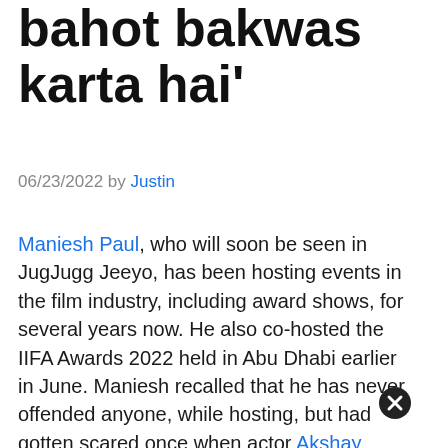bahot bakwas karta hai'
06/23/2022 by Justin
Maniesh Paul, who will soon be seen in JugJugg Jeeyo, has been hosting events in the film industry, including award shows, for several years now. He also co-hosted the IIFA Awards 2022 held in Abu Dhabi earlier in June. Maniesh recalled that he has never offended anyone, while hosting, but had gotten scared once when actor Akshay Kumar reacted strongly to his joke and left the stage at an awards show in 2010. Also Read| Maniesh Paul recalls why he was adamant on not doing kiss scene in his...